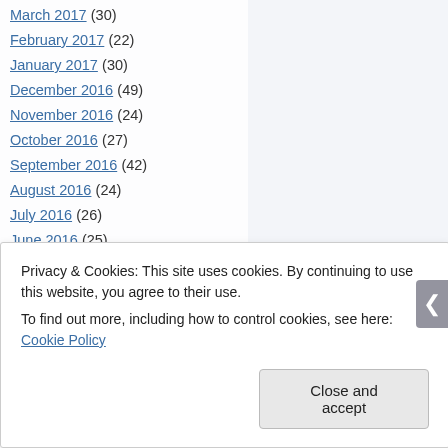March 2017 (30)
February 2017 (22)
January 2017 (30)
December 2016 (49)
November 2016 (24)
October 2016 (27)
September 2016 (42)
August 2016 (24)
July 2016 (26)
June 2016 (25)
May 2016 (21)
April 2016 (28)
March 2016 (26)
Privacy & Cookies: This site uses cookies. By continuing to use this website, you agree to their use.
To find out more, including how to control cookies, see here: Cookie Policy
Close and accept